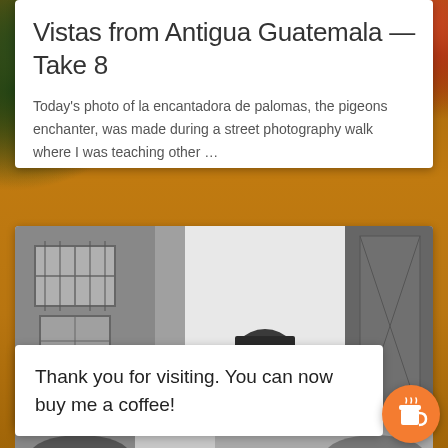Vistas from Antigua Guatemala — Take 8
Today's photo of la encantadora de palomas, the pigeons enchanter, was made during a street photography walk where I was teaching other …
[Figure (photo): Black and white street photograph of a woman with bangs, looking sideways, in front of a building with barred windows]
Thank you for visiting. You can now buy me a coffee!
[Figure (photo): Bottom portion of another black and white street photograph, partially visible]